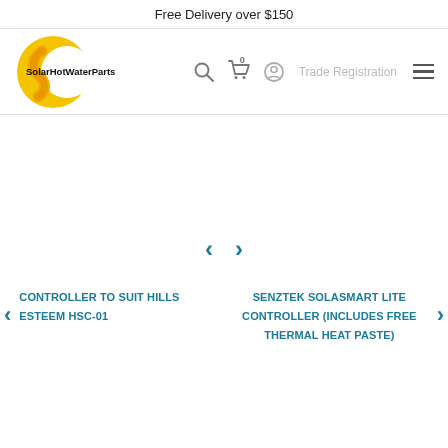Free Delivery over $150
[Figure (logo): SolarHotWaterParts logo with yellow sun/wrench icon and bold text]
Trade Registration
[Figure (other): Carousel navigation area with left and right chevron arrows]
CONTROLLER TO SUIT HILLS ESTEEM HSC-01
SENZTEK SOLASMART LITE CONTROLLER (INCLUDES FREE THERMAL HEAT PASTE)